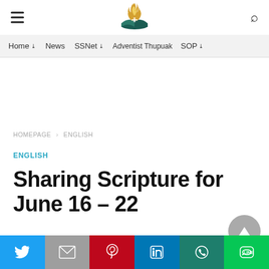Navigation header with hamburger menu, logo, and search icon
Home | News | SSNet | Adventist Thupuak | SOP
HOMEPAGE > ENGLISH
ENGLISH
Sharing Scripture for June 16 – 22
Social share buttons: Twitter, Gmail, Pinterest, LinkedIn, WhatsApp, LINE